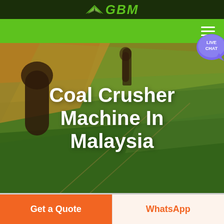GBM
[Figure (logo): GBM company logo with wing/arrow graphic on dark green background]
[Figure (screenshot): Green navigation bar with hamburger menu icon on the right]
[Figure (illustration): Live Chat bubble icon in blue/purple with text LIVE CHAT]
[Figure (photo): Aerial photo of agricultural fields with green and golden stripes, trees in foreground]
Coal Crusher Machine In Malaysia
Get a Quote
WhatsApp